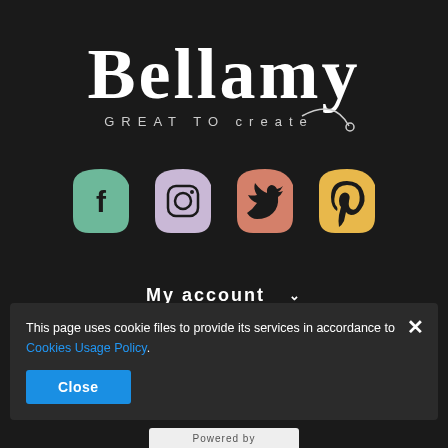[Figure (logo): Bellamy logo with text 'Bellamy' in large serif font and 'GREAT TO CREATE' in smaller spaced letters, with a needle/thread graphic, on dark background]
[Figure (infographic): Four social media icons (Facebook, Instagram, Twitter, Pinterest) in rounded leaf/teardrop shapes with colors: teal/green, lavender/purple, terracotta/salmon, golden yellow]
My account ∨
Information ∨
Bellamy ∨
This page uses cookie files to provide its services in accordance to Cookies Usage Policy.
Close
Powered by